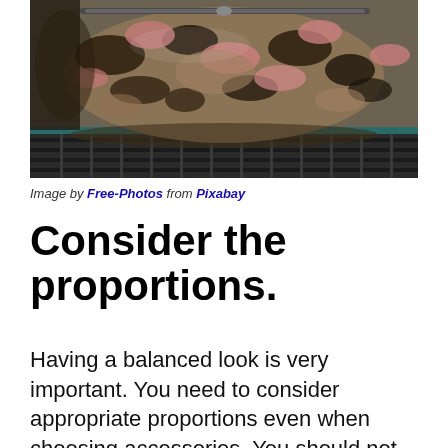[Figure (photo): Close-up photograph of a camouflage-patterned toiletry bag or dopp kit with a zipper, against a blurred background]
Image by Free-Photos from Pixabay
Consider the proportions.
Having a balanced look is very important. You need to consider appropriate proportions even when choosing accessories. You should not wear too many large pieces if you are petite, and the opposite is true if you